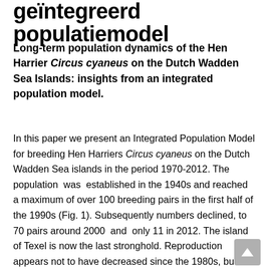geïntegreerd populatiemodel
Long-term population dynamics of the Hen Harrier Circus cyaneus on the Dutch Wadden Sea Islands: insights from an integrated population model.
In this paper we present an Integrated Population Model for breeding Hen Harriers Circus cyaneus on the Dutch Wadden Sea islands in the period 1970-2012. The population was established in the 1940s and reached a maximum of over 100 breeding pairs in the first half of the 1990s (Fig. 1). Subsequently numbers declined, to 70 pairs around 2000 and only 11 in 2012. The island of Texel is now the last stronghold. Reproduction appears not to have decreased since the 1980s, but fluctuated without a clear trend. The number of fledged young per female was on average 1.42 ± SE 0.07 over the entire study period, and 1.43 ± 0.10 after 2004. However, annual survival of juvenile birds has declined